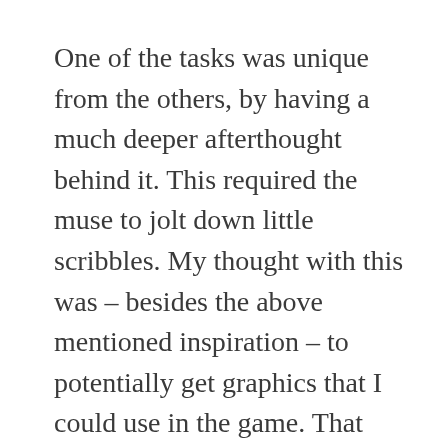One of the tasks was unique from the others, by having a much deeper afterthought behind it. This required the muse to jolt down little scribbles. My thought with this was – besides the above mentioned inspiration – to potentially get graphics that I could use in the game. That way, the game could get an even deeper level of personality, if everything turned out right. The final result of that turned out quite well, despite a few bumps along the road, as I figured out that no drawings has been made in the end. As this was rather fatal to the final